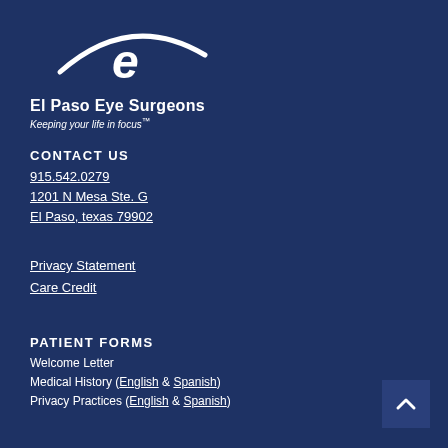[Figure (logo): El Paso Eye Surgeons logo with stylized 'e' and eye arc graphic in white on dark navy background]
El Paso Eye Surgeons
Keeping your life in focus™
CONTACT US
915.542.0279
1201 N Mesa Ste. G
El Paso, texas 79902
Privacy Statement
Care Credit
PATIENT FORMS
Welcome Letter
Medical History (English & Spanish)
Privacy Practices (English & Spanish)